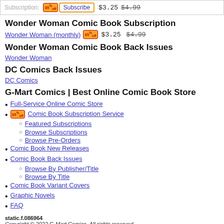Subscription: [35% off] Subscribe $3.25 $4.99
Wonder Woman Comic Book Subscription
Wonder Woman (monthly) [35% off] $3.25 $4.99
Wonder Woman Comic Book Back Issues
Wonder Woman
DC Comics Back Issues
DC Comics
G-Mart Comics | Best Online Comic Book Store
Full-Service Online Comic Store
[35% off] Comic Book Subscription Service
Featured Subscriptions
Browse Subscriptions
Browse Pre-Orders
Comic Book New Releases
Comic Book Back Issues
Browse By Publisher/Title
Browse By Title
Comic Book Variant Covers
Graphic Novels
FAQ
static.f.086964
Copyright © 2022 G-Mart Comics. All rights reserved.